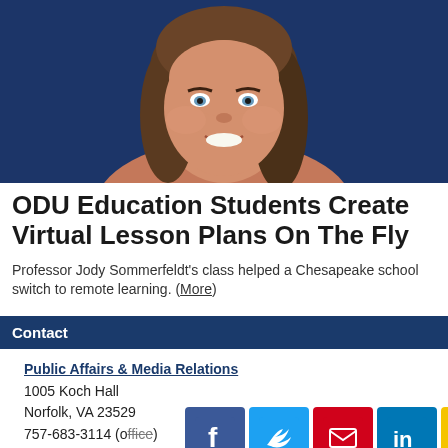[Figure (photo): Headshot of Professor Jody Sommerfeldt, a woman with brown hair, smiling, against a dark blue background]
ODU Education Students Create Virtual Lesson Plans On The Fly
Professor Jody Sommerfeldt's class helped a Chesapeake school switch to remote learning. (More)
Contact
Public Affairs & Media Relations
1005 Koch Hall
Norfolk, VA 23529
757-683-3114 (office)
universityrelation
[Figure (infographic): Social media sharing buttons: Facebook, Twitter, Email, LinkedIn, Print]